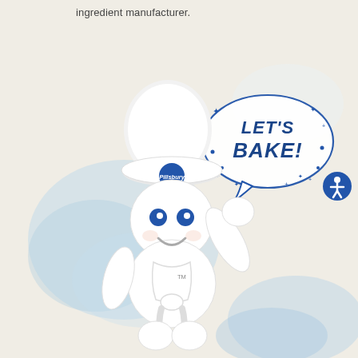ingredient manufacturer.
[Figure (illustration): Pillsbury Doughboy mascot character wearing a white chef hat with Pillsbury logo badge, blue eyes, smiling, wearing a white apron, waving one hand up toward a speech bubble that says LET'S BAKE! with stars and dots, set against a cream and blue watercolor background. Accessibility icon (person symbol in blue circle) on the right side.]